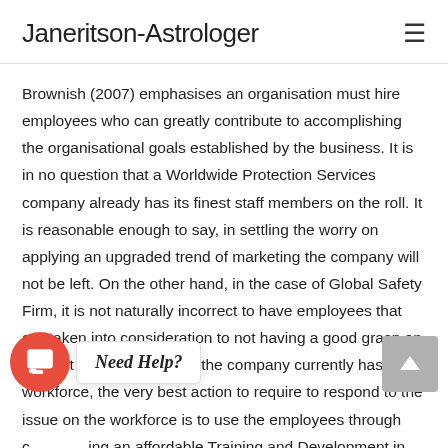Janeritson-Astrologer
Brownish (2007) emphasises an organisation must hire employees who can greatly contribute to accomplishing the organisational goals established by the business. It is in no question that a Worldwide Protection Services company already has its finest staff members on the roll. It is reasonable enough to say, in settling the worry on applying an upgraded trend of marketing the company will not be left. On the other hand, in the case of Global Safety Firm, it is not naturally incorrect to have employees that are taken into consideration to not having a good grasp on internet marketing. Whilst the company currently has the workforce, the very best action to require to respond to the issue on the workforce is to use the employees through conducting an affordable Training and Development in relation to internet marketing as well as advancement, choice makers have the possibility to equipping as well as reshaping the